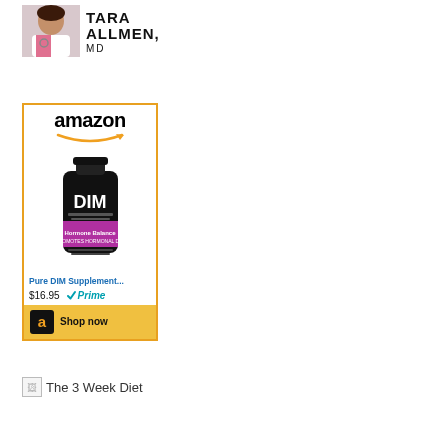[Figure (photo): Banner with a woman doctor photo and text TARA ALLMEN, MD]
[Figure (infographic): Amazon advertisement for Pure DIM Supplement showing a dark bottle with DIM label, price $16.95, Prime badge, and Shop now button]
[Figure (photo): Broken image placeholder labeled The 3 Week Diet]